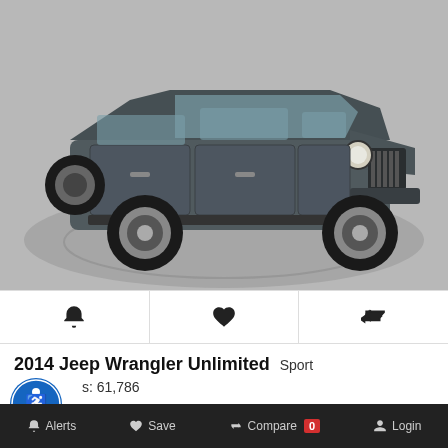[Figure (photo): Gray 2014 Jeep Wrangler Unlimited Sport SUV photographed on a circular platform against a light gray background, three-quarter front view]
Alert | Favorite | Compare icons row
2014 Jeep Wrangler Unlimited Sport
s: 61,786
Detailed Pricing
Selling Pri... $37,000
Alerts  Save  Compare 0  Login